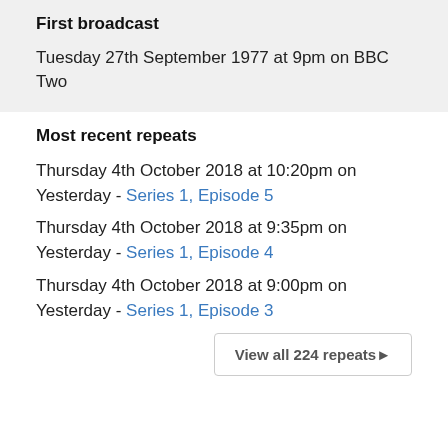First broadcast
Tuesday 27th September 1977 at 9pm on BBC Two
Most recent repeats
Thursday 4th October 2018 at 10:20pm on Yesterday - Series 1, Episode 5
Thursday 4th October 2018 at 9:35pm on Yesterday - Series 1, Episode 4
Thursday 4th October 2018 at 9:00pm on Yesterday - Series 1, Episode 3
View all 224 repeats ▶